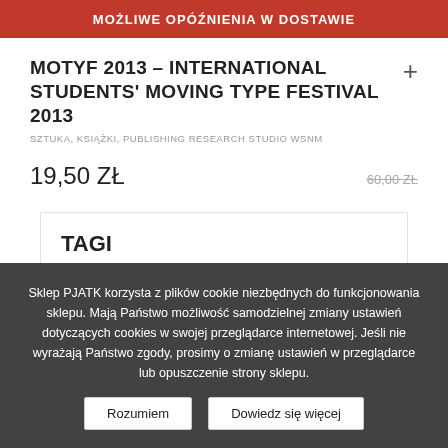MOŻLIWE OPÓŹNIENIA W DOSTAWIE
MOTYF 2013 – INTERNATIONAL STUDENTS' MOVING TYPE FESTIVAL 2013
SZTUKA, KSIĄŻKI, PUBLISHING RESEARCH STUDIO WSNM
19,50 ZŁ
60,00 ZŁ
TAGI
Sklep PJATK korzysta z plików cookie niezbędnych do funkcjonowania sklepu. Mają Państwo możliwość samodzielnej zmiany ustawień dotyczących cookies w swojej przeglądarce internetowej. Jeśli nie wyrażają Państwo zgody, prosimy o zmianę ustawień w przeglądarce lub opuszczenie strony sklepu.
Rozumiem
Dowiedz się więcej